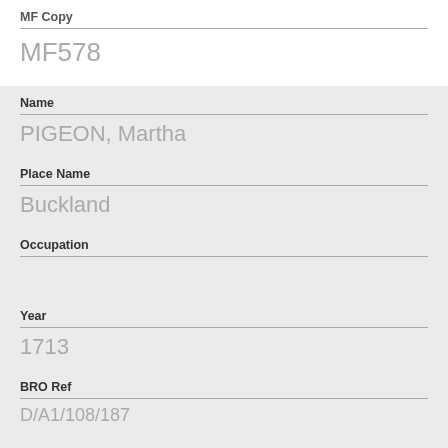MF Copy
MF578
Name
PIGEON, Martha
Place Name
Buckland
Occupation
Year
1713
BRO Ref
D/A1/108/187
MF Copy
MF578